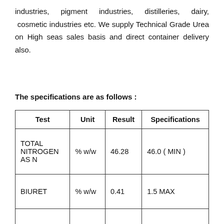industries, pigment industries, distilleries, dairy, cosmetic industries etc. We supply Technical Grade Urea on High seas sales basis and direct container delivery also.
The specifications are as follows :
| Test | Unit | Result | Specifications |
| --- | --- | --- | --- |
| TOTAL NITROGEN AS N | % w/w | 46.28 | 46.0 ( MIN ) |
| BIURET | % w/w | 0.41 | 1.5 MAX |
|  |  |  |  |